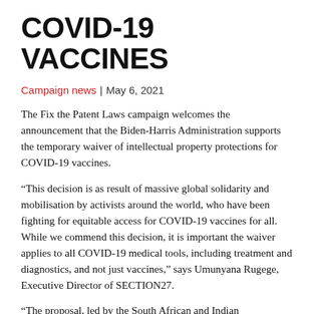COVID-19 VACCINES
Campaign news | May 6, 2021
The Fix the Patent Laws campaign welcomes the announcement that the Biden-Harris Administration supports the temporary waiver of intellectual property protections for COVID-19 vaccines.
“This decision is as result of massive global solidarity and mobilisation by activists around the world, who have been fighting for equitable access for COVID-19 vaccines for all. While we commend this decision, it is important the waiver applies to all COVID-19 medical tools, including treatment and diagnostics, and not just vaccines,” says Umunyana Rugege, Executive Director of SECTION27.
“The proposal, led by the South African and Indian governments, has the support of over 100 countries, primarily in the developing world,” says Rugege. “We hope that this signal from the US helps to shift the position of those governments that still oppose the temporary waiver, including the European Union.”